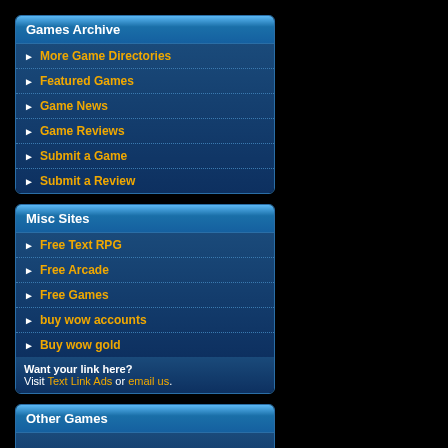Games Archive
More Game Directories
Featured Games
Game News
Game Reviews
Submit a Game
Submit a Review
Misc Sites
Free Text RPG
Free Arcade
Free Games
buy wow accounts
Buy wow gold
Want your link here? Visit Text Link Ads or email us.
Other Games